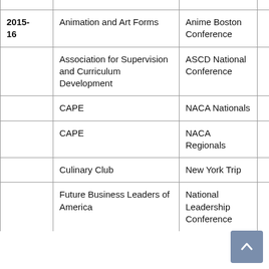| Year | Organization/Program | Event/Conference |  |
| --- | --- | --- | --- |
| 2015-16 | Animation and Art Forms | Anime Boston Conference |  |
|  | Association for Supervision and Curriculum Development | ASCD National Conference |  |
|  | CAPE | NACA Nationals |  |
|  | CAPE | NACA Regionals |  |
|  | Culinary Club | New York Trip |  |
|  | Future Business Leaders of America | National Leadership Conference |  |